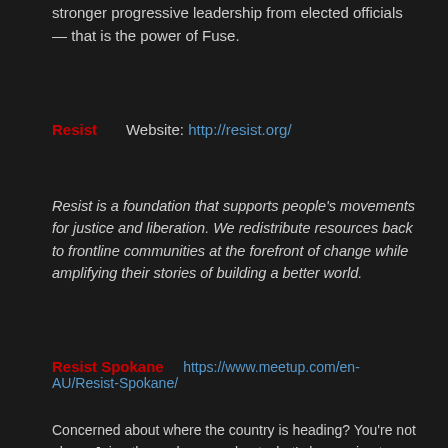stronger progressive leadership from elected officials — that is the power of Fuse.
Resist   Website: http://resist.org/
Resist is a foundation that supports people's movements for justice and liberation. We redistribute resources back to frontline communities at the forefront of change while amplifying their stories of building a better world.
Resist Spokane   https://www.meetup.com/en-AU/Resist-Spokane/
Concerned about where the country is heading? You're not alone. Join others who care about what's happening to democracy, equality, human rights, social justice, sustainability, and other important topics. It's ok if you've never been to a protest, march, or town hall — start here. You really can make a difference.
Spokane Indivisible